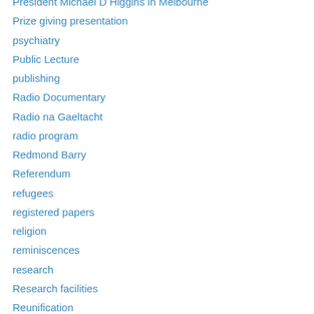President Michael D Higgins in Melbourne
Prize giving presentation
psychiatry
Public Lecture
publishing
Radio Documentary
Radio na Gaeltacht
radio program
Redmond Barry
Referendum
refugees
registered papers
religion
reminiscences
research
Research facilities
Reunification
Review
review